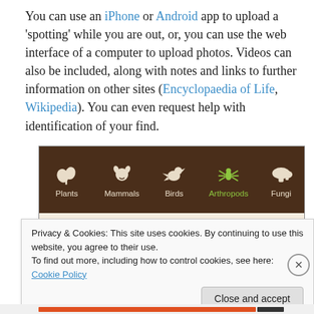You can use an iPhone or Android app to upload a 'spotting' while you are out, or, you can use the web interface of a computer to upload photos. Videos can also be included, along with notes and links to further information on other sites (Encyclopaedia of Life, Wikipedia). You can even request help with identification of your find.
[Figure (screenshot): App navigation bar showing nature categories: Plants, Mammals, Birds, Arthropods (highlighted in green), Fungi — on a dark brown background. Below is a beige strip showing 'Add up to 5 photos'.]
Privacy & Cookies: This site uses cookies. By continuing to use this website, you agree to their use.
To find out more, including how to control cookies, see here: Cookie Policy
[Close and accept button]